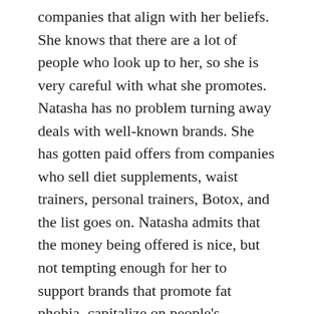companies that align with her beliefs. She knows that there are a lot of people who look up to her, so she is very careful with what she promotes. Natasha has no problem turning away deals with well-known brands. She has gotten paid offers from companies who sell diet supplements, waist trainers, personal trainers, Botox, and the list goes on. Natasha admits that the money being offered is nice, but not tempting enough for her to support brands that promote fat phobia, capitalize on people's insecurities, and tell people that they are not good enough by just being themselves. She remains true to herself and her beliefs, and refuses to work with brands who go against everything she supports and believes in.
What many people may not know is the fact that Natasha was a full-time content creator and model